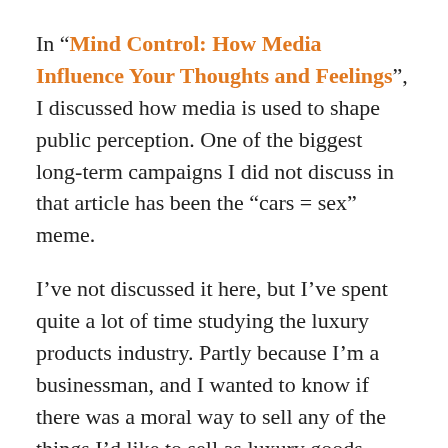In “Mind Control: How Media Influence Your Thoughts and Feelings”, I discussed how media is used to shape public perception. One of the biggest long-term campaigns I did not discuss in that article has been the “cars = sex” meme.
I’ve not discussed it here, but I’ve spent quite a lot of time studying the luxury products industry. Partly because I’m a businessman, and I wanted to know if there was a moral way to sell any of the things I’d like to sell as luxury goods (ultimate verdict: not so much. Luxury only really works with wearable/flauntable baubles, not information technology or digital products), but also because of how fascinating the psychology behind it is.